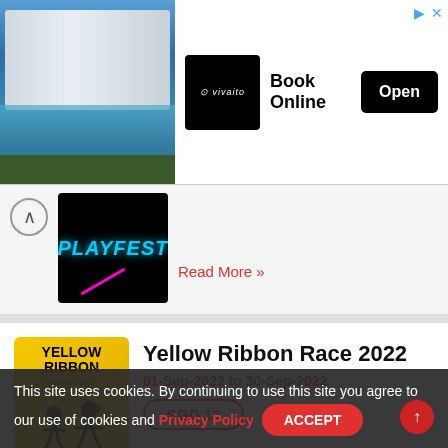[Figure (photo): Advertisement banner with hotel/resort photo on left, black logo box with Vivaito branding in center, 'Book Online' text and black 'Open' button on right]
[Figure (photo): Playfest event thumbnail image with dark background and cyan/pink neon text]
Read More »
Yellow Ribbon Race 2022
01-Sep-2022 to 30-Sep-2022
SGD 13
Read More »
[Figure (photo): Yellow Ribbon Race 2022 event poster with yellow background, runners silhouettes]
Carnival by the Bay 2022
[Figure (photo): Carnival by the Bay 2022 event thumbnail with dark reddish background and carnival branding]
This site uses cookies. By continuing to use this site you agree to our use of cookies and Privacy Policy   ACCEPT